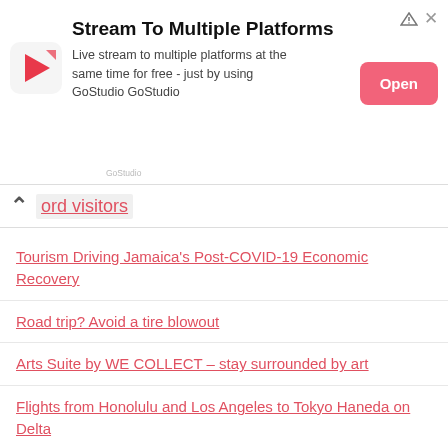[Figure (screenshot): GoStudio advertisement banner. Logo: red/pink play button icon with 'GoStudio' label. Title: 'Stream To Multiple Platforms'. Body: 'Live stream to multiple platforms at the same time for free - just by using GoStudio GoStudio'. 'Open' button on the right. Small triangle/prism icon and X in top-right.]
ord visitors
Tourism Driving Jamaica’s Post-COVID-19 Economic Recovery
Road trip? Avoid a tire blowout
Arts Suite by WE COLLECT – stay surrounded by art
Flights from Honolulu and Los Angeles to Tokyo Haneda on Delta
Gambia tired of being a cheap sex hub for British grandmothers